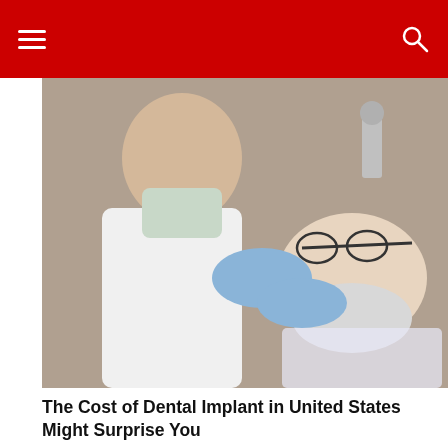Navigation header with hamburger menu and search icon on red background
[Figure (photo): Dentist in white coat and blue gloves examining or treating an elderly male patient who is reclined in a dental chair with mouth open]
The Cost of Dental Implant in United States Might Surprise You
Search Ads
Know More
[Figure (photo): Aerial view of a futuristic star-shaped modern architectural building complex surrounded by green landscaping]
[Figure (photo): Exterior view of a large modern building with a gate entrance and people walking in front]